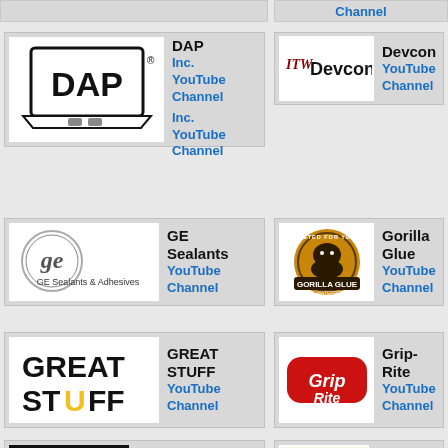[Figure (logo): Top left partial card - grey bar]
Channel
[Figure (logo): DAP Inc. logo - white card with DAP branded sign graphic]
DAP Inc. YouTube Channel Inc. YouTube Channel
[Figure (logo): ITW Devcon logo - white card with italic ITW and Devcon text]
Devcon YouTube Channel
[Figure (logo): GE Sealants & Adhesives logo - circular GE monogram]
GE Sealants YouTube Channel
[Figure (logo): Gorilla Glue logo - circular badge with gorilla graphic]
Gorilla Glue YouTube Channel
[Figure (logo): GREAT STUFF logo - black text on white with yellow U accent]
GREAT STUFF YouTube Channel
[Figure (logo): Grip Rite logo - red rounded rectangle with white italic text]
Grip-Rite YouTube Channel
[Figure (logo): Simpson Strong-Tie logo - white text on black background]
Simpson Strong-
[Figure (logo): Titebond logo - partial visible at bottom]
Titebond